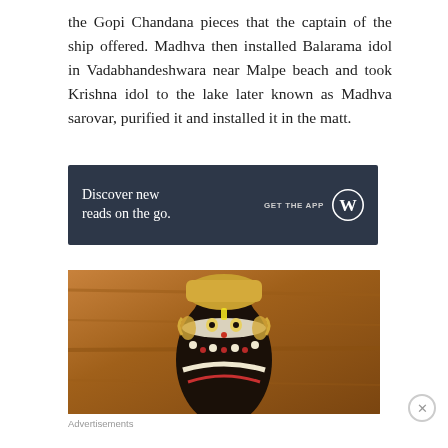the Gopi Chandana pieces that the captain of the ship offered. Madhva then installed Balarama idol in Vadabhandeshwara near Malpe beach and took Krishna idol to the lake later known as Madhva sarovar, purified it and installed it in the matt.
[Figure (screenshot): Dark navy blue advertisement banner for WordPress app reading 'Discover new reads on the go.' with 'GET THE APP' button and WordPress logo on right, preceded by 'Advertisements' label and followed by 'REPORT THIS AD' link]
[Figure (photo): Close-up photograph of a dark-colored Hindu deity idol decorated with elaborate flower garlands, ornamental jewelry, and traditional adornments against a warm wooden/orange background]
[Figure (screenshot): Pink Victoria's Secret advertisement banner with Victoria's Secret logo and text 'SHOP THE COLLECTION' and white 'SHOP NOW' button, preceded by 'Advertisements' label]